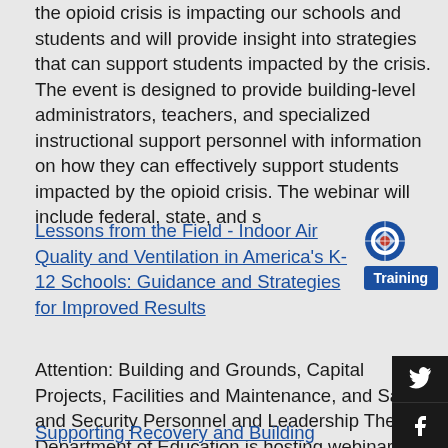the opioid crisis is impacting our schools and students and will provide insight into strategies that can support students impacted by the crisis. The event is designed to provide building-level administrators, teachers, and specialized instructional support personnel with information on how they can effectively support students impacted by the opioid crisis. The webinar will include federal, state, and s
Lessons from the Field - Indoor Air Quality and Ventilation in America's K-12 Schools: Guidance and Strategies for Improved Results
Training
Attention: Building and Grounds, Capital Projects, Facilities and Maintenance, and Safety and Security Personnel and Leadership The U.S. Department of Education is hosting webinar series to support educational settings in safely sustaining or returning to in-person instruction.
Supporting Recovery and Building